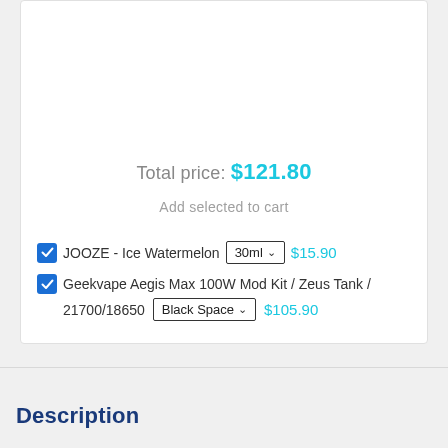Total price: $121.80
Add selected to cart
JOOZE - Ice Watermelon  30ml  $15.90
Geekvape Aegis Max 100W Mod Kit / Zeus Tank / 21700/18650  Black Space  $105.90
Description